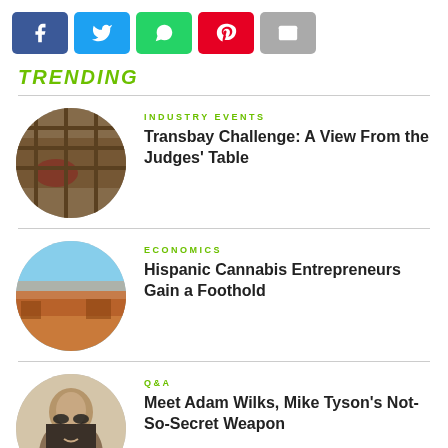[Figure (other): Social share buttons: Facebook (blue), Twitter (light blue), WhatsApp (green), Pinterest (red), Email (grey)]
TRENDING
[Figure (photo): Circular thumbnail: close-up of cannabis product on a wooden surface]
INDUSTRY EVENTS
Transbay Challenge: A View From the Judges' Table
[Figure (photo): Circular thumbnail: desert landscape with reddish terrain and sparse vegetation]
ECONOMICS
Hispanic Cannabis Entrepreneurs Gain a Foothold
[Figure (photo): Circular thumbnail: bald man with beard wearing sunglasses, smoking]
Q&A
Meet Adam Wilks, Mike Tyson’s Not-So-Secret Weapon